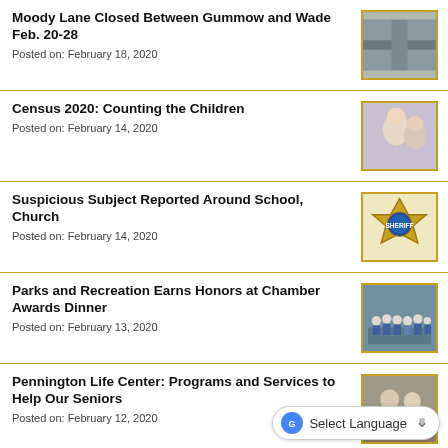Moody Lane Closed Between Gummow and Wade Feb. 20-28
Posted on: February 18, 2020
Census 2020: Counting the Children
Posted on: February 14, 2020
Suspicious Subject Reported Around School, Church
Posted on: February 14, 2020
Parks and Recreation Earns Honors at Chamber Awards Dinner
Posted on: February 13, 2020
Pennington Life Center: Programs and Services to Help Our Seniors
Posted on: February 12, 2020
Select Language